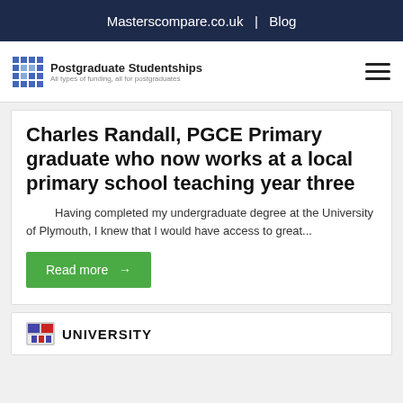Masterscompare.co.uk  |  Blog
[Figure (logo): Postgraduate Studentships logo with grid icon and tagline 'All types of funding, all for postgraduates']
Charles Randall, PGCE Primary graduate who now works at a local primary school teaching year three
Having completed my undergraduate degree at the University of Plymouth, I knew that I would have access to great...
Read more →
[Figure (logo): University logo icon with 'UNIVERSITY' label text]